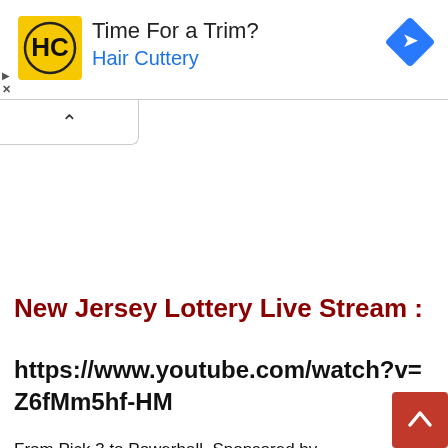[Figure (logo): Hair Cuttery advertisement banner with yellow HC logo, text 'Time For a Trim?' and 'Hair Cuttery' in blue, and a blue navigation diamond icon on the right]
New Jersey Lottery Live Stream :
https://www.youtube.com/watch?v=Z6fMm5hf-HM
From Pick 3 to Powerball, Sponsored by CASH4LIFE